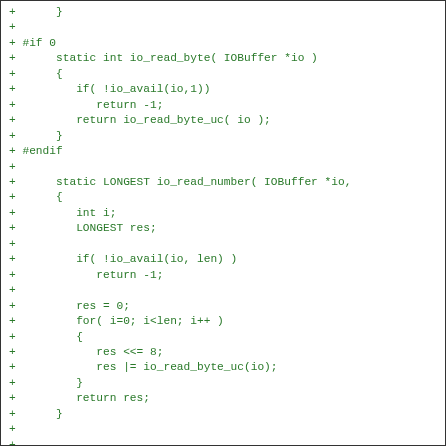[Figure (screenshot): Code diff block showing added lines (prefixed with '+') in green monospace font on white background. The code is C/Pike source showing io_read_byte and io_read_number functions inside a #if 0 / #endif block, followed by io_read_number function implementation and a PIKEFUN int _size_object() declaration.]